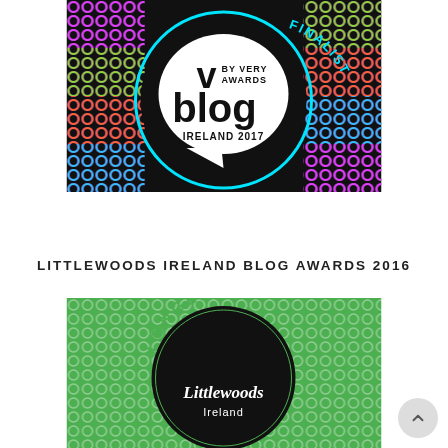[Figure (logo): V by Very Blog Awards Ireland 2017 Finalist badge — circular black and white logo with colorful repeating pattern background and cyan 'FINALIST' text along the right edge]
LITTLEWOODS IRELAND BLOG AWARDS 2016
[Figure (logo): Littlewoods Ireland Blog Awards 2016 Longlisted badge — circular black disc on bright green repeating pattern background with green 'LONGLIST' text along the edge and Littlewoods Ireland wordmark at bottom]